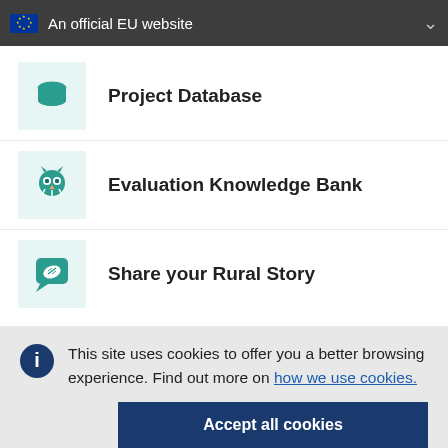An official EU website
Project Database
Evaluation Knowledge Bank
Share your Rural Story
This site uses cookies to offer you a better browsing experience. Find out more on how we use cookies.
Accept all cookies
Accept only essential cookies